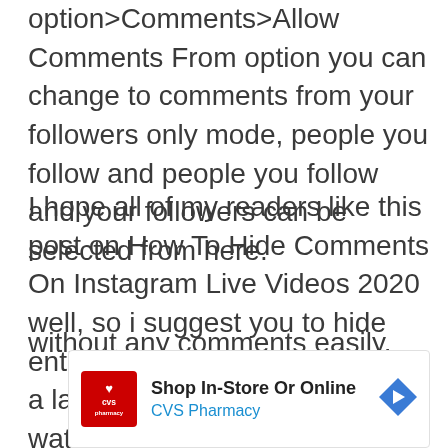option>Comments>Allow Comments From option you can change to comments from your followers only mode, people you follow and people you follow and your followers can be selected from here.
I hope all of my readers like this post on How To Hide Comments On Instagram Live Videos 2020 well, so i suggest you to hide entire chat you should try using a laptop/desktop computer to watch live stream videos without any comments easily.
[Figure (screenshot): CVS Pharmacy advertisement banner: red CVS logo on left, 'Shop In-Store Or Online' title in bold dark text, 'CVS Pharmacy' subtitle in blue, blue direction arrow icon on right.]